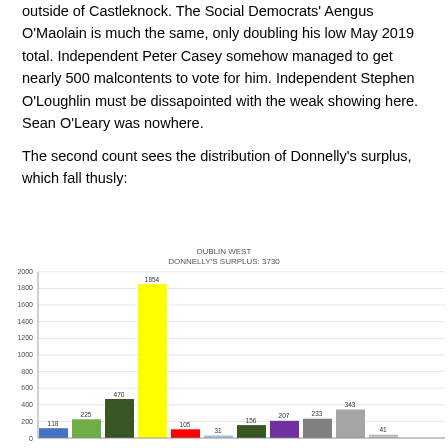outside of Castleknock. The Social Democrats' Aengus O'Maolain is much the same, only doubling his low May 2019 total. Independent Peter Casey somehow managed to get nearly 500 malcontents to vote for him. Independent Stephen O'Loughlin must be dissapointed with the weak showing here. Sean O'Leary was nowhere.
The second count sees the distribution of Donnelly's surplus, which fall thusly:
[Figure (bar-chart): DUBLIN WEST — DONNELLY'S SURPLUS: 3730]